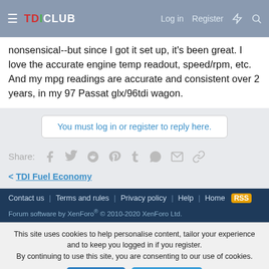TDICLUB – Log in | Register
nonsensical--but since I got it set up, it's been great. I love the accurate engine temp readout, speed/rpm, etc. And my mpg readings are accurate and consistent over 2 years, in my 97 Passat glx/96tdi wagon.
You must log in or register to reply here.
Share:
< TDI Fuel Economy
Contact us  Terms and rules  Privacy policy  Help  Home  RSS
Forum software by XenForo® © 2010-2020 XenForo Ltd.
This site uses cookies to help personalise content, tailor your experience and to keep you logged in if you register. By continuing to use this site, you are consenting to our use of cookies.
Accept  Learn more...